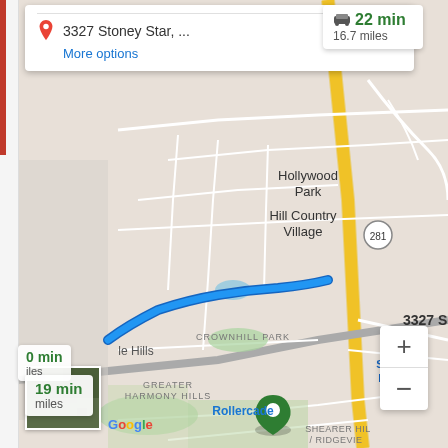[Figure (screenshot): Google Maps screenshot showing driving directions to 3327 Stoney Star in San Antonio area. Shows map with blue route line, neighborhoods including Hollywood Park, Hill Country Village, Greater Harmony Hills, and San Antonio International Airport. Two route options shown with times: 22 min/16.7 miles and 19 min. Zoom controls and Google logo visible.]
3327 Stoney Star, ...
More options
22 min
16.7 miles
Hollywood Park
Hill Country Village
281
3327 S
San Antе Internati Airpo
GREATER HARMONY HILLS
le Hills
CROWNHILL PARK
19 min
miles
SHEARER HIL / RIDGEVIEе
Rollercade
Google